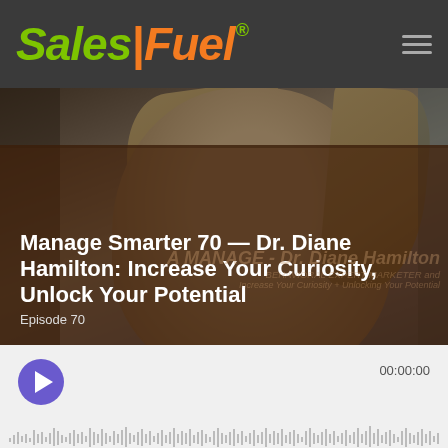SalesFuel
[Figure (photo): Portrait photo of Dr. Diane Hamilton, a blonde woman smiling, with podcast episode overlay showing title and episode number]
Manage Smarter 70 — Dr. Diane Hamilton: Increase Your Curiosity, Unlock Your Potential
Episode 70
[Figure (screenshot): Audio player widget with purple play button, time display showing 00:00:00, and waveform visualization at the bottom]